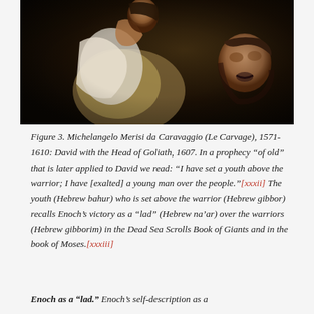[Figure (photo): A painting by Michelangelo Merisi da Caravaggio showing David with the Head of Goliath, 1607. A young man holds up a severed head, depicted in dark dramatic chiaroscuro style.]
Figure 3. Michelangelo Merisi da Caravaggio (Le Carvage), 1571-1610: David with the Head of Goliath, 1607. In a prophecy “of old” that is later applied to David we read: “I have set a youth above the warrior; I have [exalted] a young man over the people.”[xxxii] The youth (Hebrew bahur) who is set above the warrior (Hebrew gibbor) recalls Enoch’s victory as a “lad” (Hebrew na’ar) over the warriors (Hebrew gibborim) in the Dead Sea Scrolls Book of Giants and in the book of Moses.[xxxiii]
Enoch as a “lad.” Enoch’s self-description as a